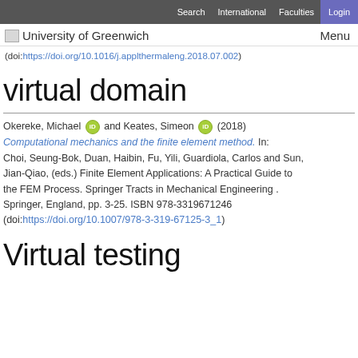Search   International   Faculties   Login
University of Greenwich   Menu
(doi:https://doi.org/10.1016/j.applthermaleng.2018.07.002)
virtual domain
Okereke, Michael and Keates, Simeon (2018) Computational mechanics and the finite element method. In: Choi, Seung-Bok, Duan, Haibin, Fu, Yili, Guardiola, Carlos and Sun, Jian-Qiao, (eds.) Finite Element Applications: A Practical Guide to the FEM Process. Springer Tracts in Mechanical Engineering . Springer, England, pp. 3-25. ISBN 978-3319671246 (doi:https://doi.org/10.1007/978-3-319-67125-3_1)
Virtual testing